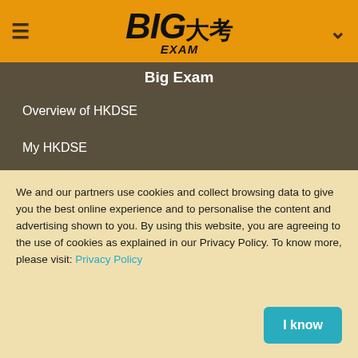[Figure (logo): BIG Exam logo with Chinese characters 大考 on orange background with hamburger menu and chevron]
Big Exam
Overview of HKDSE
My HKDSE
HKDSE Timetable
Banding and medium of instruction of secondary schools
HKDSE Editorial
Main page
We and our partners use cookies and collect browsing data to give you the best online experience and to personalise the content and advertising shown to you. By using this website, you are agreeing to the use of cookies as explained in our Privacy Policy. To know more, please visit: Privacy Policy